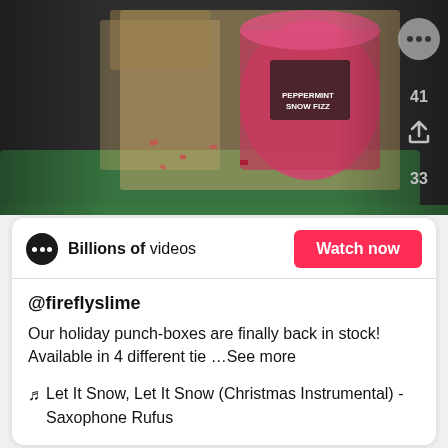[Figure (screenshot): TikTok video thumbnail showing holiday punch-boxes with pink slime canister in a green gift box with red confetti. Right side shows share icons with counts 41 and 33.]
Billions of videos
Watch now
@fireflyslime
Our holiday punch-boxes are finally back in stock! Available in 4 different tie ...See more
♬  Let It Snow, Let It Snow (Christmas Instrumental) - Saxophone Rufus